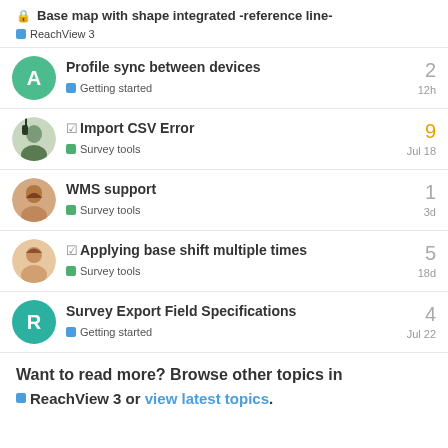🔒 Base map with shape integrated -reference line-
ReachView 3
Profile sync between devices | Getting started | 2 | 12h
☑ Import CSV Error | Survey tools | 9 | Jul 18
WMS support | Survey tools | 1 | 3d
☑ Applying base shift multiple times | Survey tools | 5 | 18d
Survey Export Field Specifications | Getting started | 4 | Jul 22
Want to read more? Browse other topics in
ReachView 3 or view latest topics.